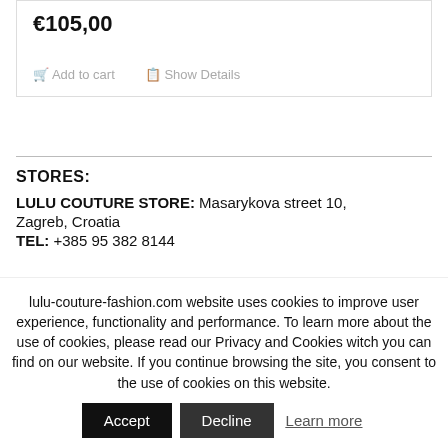€105,00
Add to cart   Show Details
STORES:
LULU COUTURE STORE: Masarykova street 10, Zagreb, Croatia
TEL: +385 95 382 8144
lulu-couture-fashion.com website uses cookies to improve user experience, functionality and performance. To learn more about the use of cookies, please read our Privacy and Cookies witch you can find on our website. If you continue browsing the site, you consent to the use of cookies on this website.
Accept   Decline   Learn more